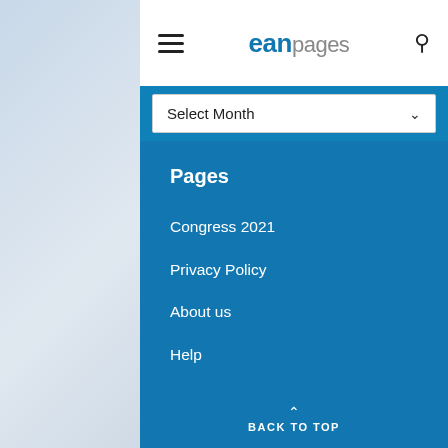ean pages
Select Month
Pages
Congress 2021
Privacy Policy
About us
Help
Contact
BACK TO TOP